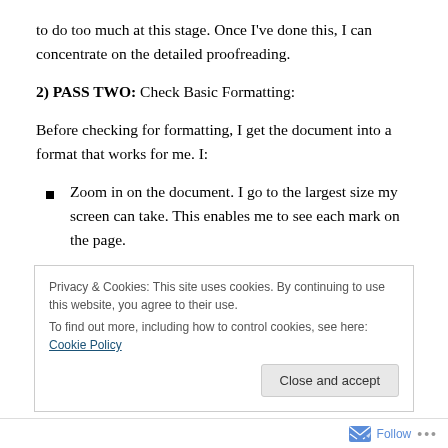to do too much at this stage. Once I've done this, I can concentrate on the detailed proofreading.
2) PASS TWO: Check Basic Formatting:
Before checking for formatting, I get the document into a format that works for me. I:
Zoom in on the document. I go to the largest size my screen can take. This enables me to see each mark on the page.
Turn paragraph marking on. This allows me to see
Privacy & Cookies: This site uses cookies. By continuing to use this website, you agree to their use.
To find out more, including how to control cookies, see here: Cookie Policy
Close and accept
Follow